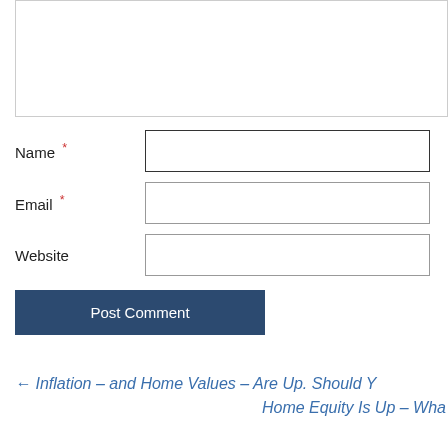[Figure (other): Empty textarea input box for comment]
Name *
Email *
Website
Post Comment
← Inflation – and Home Values – Are Up. Should Y
Home Equity Is Up – Wha